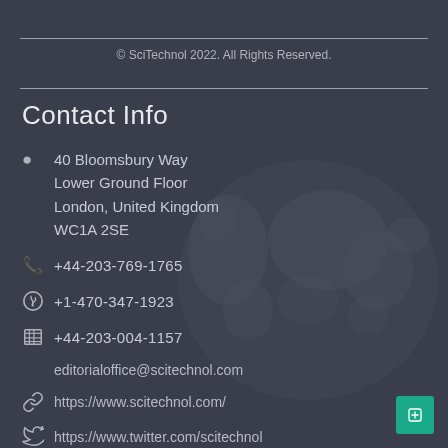© SciTechnol 2022. All Rights Reserved.
Contact Info
40 Bloomsbury Way
Lower Ground Floor
London, United Kingdom
WC1A 2SE
+44-203-769-1765
+1-470-347-1923
+44-203-004-1157
editorialoffice@scitechnol.com
https://www.scitechnol.com/
https://www.twitter.com/scitechnol